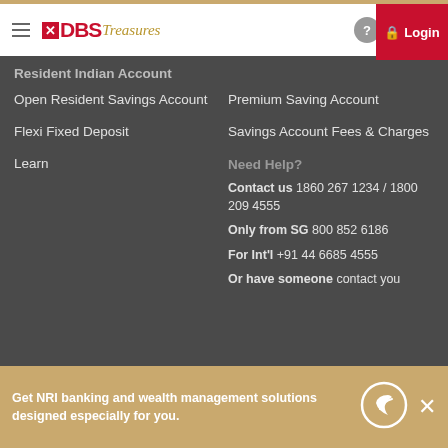DBS Treasures - Login
Resident Indian Account
Open Resident Savings Account
Premium Saving Account
Flexi Fixed Deposit
Savings Account Fees & Charges
Learn
Need Help?
Contact us 1860 267 1234 / 1800 209 4555
Only from SG 800 852 6186
For Int'l +91 44 6685 4555
Or have someone contact you
Get NRI banking and wealth management solutions designed especially for you.